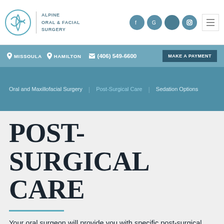Alpine Oral & Facial Surgery
MISSOULA  HAMILTON  (406) 549-6600  MAKE A PAYMENT
Oral and Maxillofacial Surgery  Post-Surgical Care  Sedation Options
POST-SURGICAL CARE
Your oral surgeon will provide you with specific post-surgical instructions to follow at home. By following your post-operative instructions carefully, you minimize...